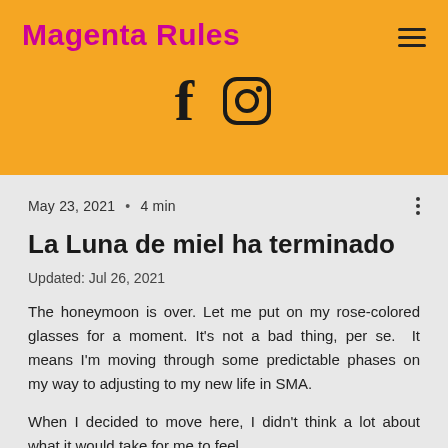Magenta Rules
[Figure (logo): Facebook and Instagram social media icons]
May 23, 2021 • 4 min
La Luna de miel ha terminado
Updated: Jul 26, 2021
The honeymoon is over. Let me put on my rose-colored glasses for a moment. It's not a bad thing, per se.  It means I'm moving through some predictable phases on my way to adjusting to my new life in SMA.
When I decided to move here, I didn't think a lot about what it would take for me to feel settled here.